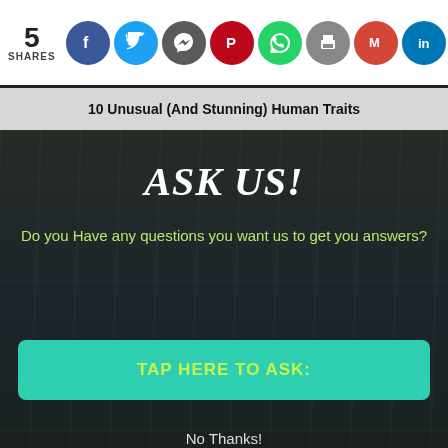5 SHARES
[Figure (infographic): Social media share icons: Facebook (blue), Twitter (light blue), Messenger (gray), Pinterest (red), WhatsApp (green), Print (gray), Gmail (red), LinkedIn (blue), Google (blue)]
10 Unusual (And Stunning) Human Traits
[Figure (photo): People in white hazmat/PPE suits standing together, with an overlay dialog: ASK US! Do you Have any questions you want us to get you answers? TAP HERE TO ASK: button, No Thanks! link]
ASK US!
Do you Have any questions you want us to get you answers?
TAP HERE TO ASK:
No Thanks!
Worldwide Travel Restrictions In Response To The Spread Of Omicro